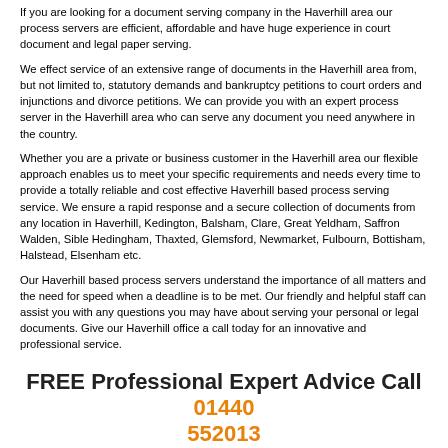If you are looking for a document serving company in the Haverhill area our process servers are efficient, affordable and have huge experience in court document and legal paper serving.
We effect service of an extensive range of documents in the Haverhill area from, but not limited to, statutory demands and bankruptcy petitions to court orders and injunctions and divorce petitions. We can provide you with an expert process server in the Haverhill area who can serve any document you need anywhere in the country.
Whether you are a private or business customer in the Haverhill area our flexible approach enables us to meet your specific requirements and needs every time to provide a totally reliable and cost effective Haverhill based process serving service. We ensure a rapid response and a secure collection of documents from any location in Haverhill, Kedington, Balsham, Clare, Great Yeldham, Saffron Walden, Sible Hedingham, Thaxted, Glemsford, Newmarket, Fulbourn, Bottisham, Halstead, Elsenham etc.
Our Haverhill based process servers understand the importance of all matters and the need for speed when a deadline is to be met. Our friendly and helpful staff can assist you with any questions you may have about serving your personal or legal documents. Give our Haverhill office a call today for an innovative and professional service.
FREE Professional Expert Advice Call 01440 552013
FREE Quote »
Contact us »